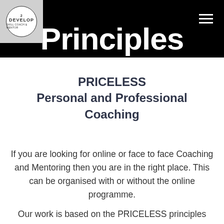[Figure (logo): 2 Develop coaching logo in a circle, grey background box]
Principles
PRICELESS Personal and Professional Coaching
If you are looking for online or face to face Coaching and Mentoring then you are in the right place. This can be organised with or without the online programme.
Our work is based on the PRICELESS principles which